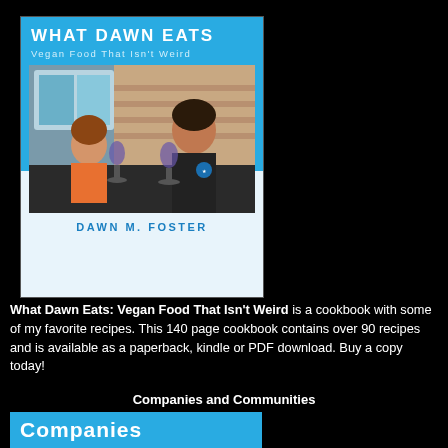[Figure (photo): Book cover for 'What Dawn Eats: Vegan Food That Isn't Weird' by Dawn M. Foster. Blue and white cover with a photo of two people toasting with wine glasses.]
What Dawn Eats: Vegan Food That Isn't Weird is a cookbook with some of my favorite recipes. This 140 page cookbook contains over 90 recipes and is available as a paperback, kindle or PDF download. Buy a copy today!
Companies and Communities
[Figure (illustration): Partial view of a blue card/banner with the text 'Companies' in bold white letters.]